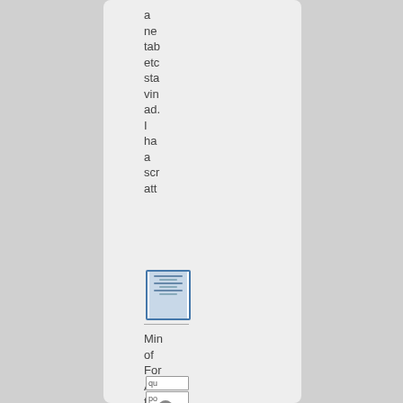a new tab etc sta vin ad. I hav a scr att
[Figure (screenshot): Small thumbnail screenshot of a document or webpage interface]
Min of For Affe for
Han (green link)
[Figure (screenshot): Small icon/button labeled qu]
[Figure (screenshot): Small icon/button labeled po]